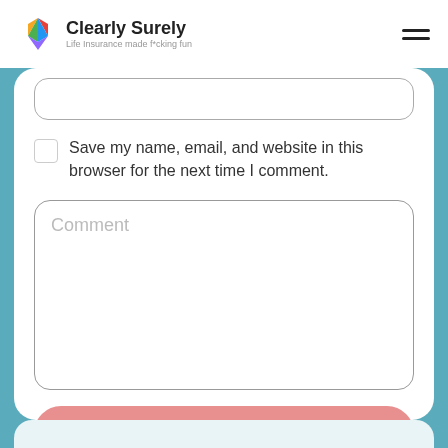Clearly Surely — Life Insurance made f*cking fun
Save my name, email, and website in this browser for the next time I comment.
Comment
Post Comment